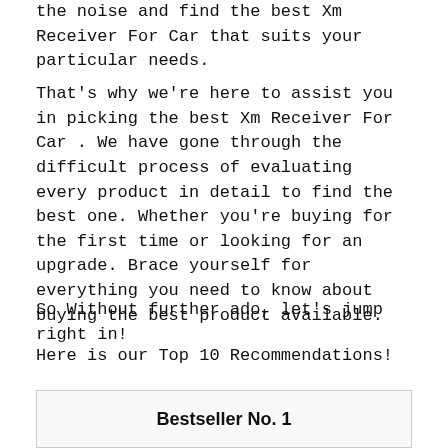the noise and find the best Xm Receiver For Car that suits your particular needs.
That's why we're here to assist you in picking the best Xm Receiver For Car . We have gone through the difficult process of evaluating every product in detail to find the best one. Whether you're buying for the first time or looking for an upgrade. Brace yourself for everything you need to know about buying the best product available.
So Without further ado, let's jump right in!
Here is our Top 10 Recommendations!
Bestseller No. 1